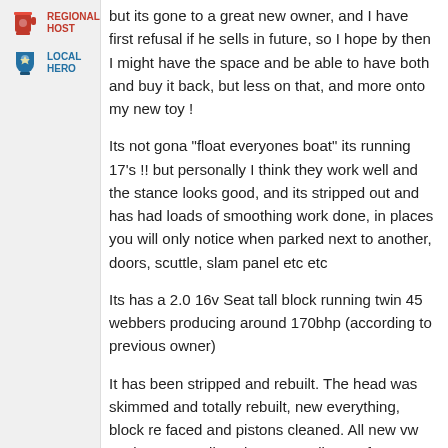[Figure (illustration): Regional Host badge icon (red mug/trophy icon) with text REGIONAL HOST in red bold uppercase]
[Figure (illustration): Local Hero badge icon (blue trophy/shield icon) with text LOCAL HERO in blue bold uppercase]
but its gone to a great new owner, and I have first refusal if he sells in future, so I hope by then I might have the space and be able to have both and buy it back, but less on that, and more onto my new toy !
Its not gona "float everyones boat" its running 17's !! but personally I think they work well and the stance looks good, and its stripped out and has had loads of smoothing work done, in places you will only notice when parked next to another, doors, scuttle, slam panel etc etc
Its has a 2.0 16v Seat tall block running twin 45 webbers producing around 170bhp (according to previous owner)
It has been stripped and rebuilt. The head was skimmed and totally rebuilt, new everything, block re faced and pistons cleaned. All new vw gaskets. new oil cooler, new radiators, fan, switch, mount, shallower sump.  Engine was cleaned and painted crackle black, alternator and oil cooler polished, rocker cover enamelled in gold, new plugs, leads, distributor, belts, etc.